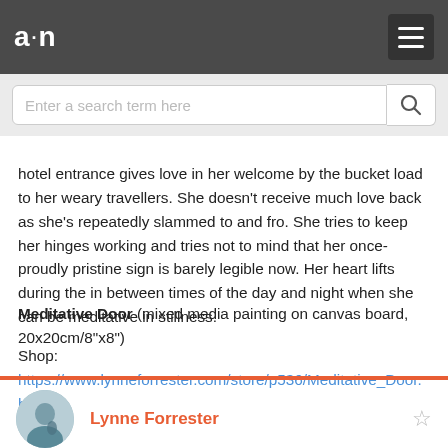a·n [logo and hamburger menu]
Enter a search term here [search bar]
hotel entrance gives love in her welcome by the bucket load to her weary travellers. She doesn't receive much love back as she's repeatedly slammed to and fro. She tries to keep her hinges working and tries not to mind that her once-proudly pristine sign is barely legible now. Her heart lifts during the in between times of the day and night when she can be meditative in stillness.
Meditative Door (mixed media painting on canvas board, 20x20cm/8"x8")
Shop:
https://www.lynneforrester.com/store/p536/Meditative_Door.html
Lynne Forrester